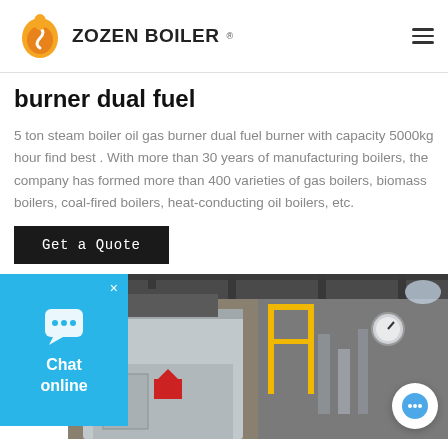ZOZEN BOILER
burner dual fuel
5 ton steam boiler oil gas burner dual fuel burner with capacity 5000kg hour find best . With more than 30 years of manufacturing boilers, the company has formed more than 400 varieties of gas boilers, biomass boilers, coal-fired boilers, heat-conducting oil boilers, etc.
Get a Quote
[Figure (photo): Industrial boiler equipment inside a factory/warehouse, showing a large grey metal boiler unit with yellow safety railing, pipes and industrial ceiling structure visible.]